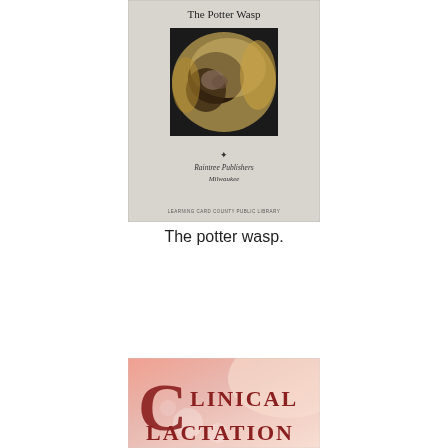[Figure (photo): Book cover of 'The Potter Wasp' showing a close-up photograph of a wasp nest, published by Raintree Publishers, Milwaukee. Small text at bottom reads 'LEARNING CARD COUNTY PUBLIC LIBRARY'.]
The potter wasp.
[Figure (photo): Partial book cover of 'Clinical Lactation' showing large decorative capital C followed by 'LINICAL' and 'LACTATION' in dark red serif text on a pink/peach watercolor background.]